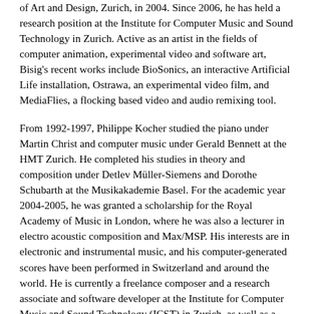of Art and Design, Zurich, in 2004. Since 2006, he has held a research position at the Institute for Computer Music and Sound Technology in Zurich. Active as an artist in the fields of computer animation, experimental video and software art, Bisig's recent works include BioSonics, an interactive Artificial Life installation, Ostrawa, an experimental video film, and MediaFlies, a flocking based video and audio remixing tool.
From 1992-1997, Philippe Kocher studied the piano under Martin Christ and computer music under Gerald Bennett at the HMT Zurich. He completed his studies in theory and composition under Detlev Müller-Siemens and Dorothe Schubarth at the Musikakademie Basel. For the academic year 2004-2005, he was granted a scholarship for the Royal Academy of Music in London, where he was also a lecturer in electro acoustic composition and Max/MSP. His interests are in electronic and instrumental music, and his computer-generated scores have been performed in Switzerland and around the world. He is currently a freelance composer and a research associate and software developer at the Institute for Computer Music and Sound Technology (ICST) in Zurich, as well as a lecturer in music theory and computer aided composition at the Zurich University of the Arts.